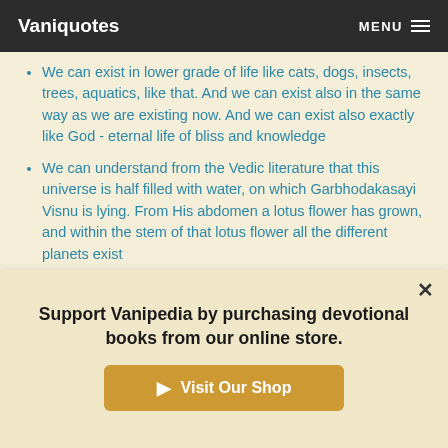Vaniquotes | MENU
We can exist in lower grade of life like cats, dogs, insects, trees, aquatics, like that. And we can exist also in the same way as we are existing now. And we can exist also exactly like God - eternal life of bliss and knowledge
We can understand from the Vedic literature that this universe is half filled with water, on which Garbhodakasayi Visnu is lying. From His abdomen a lotus flower has grown, and within the stem of that lotus flower all the different planets exist
We do not know when we shall meet our next death, our next exit from this platform. But before going out of this
Support Vanipedia by purchasing devotional books from our online store.
▶ Visit Our Shop